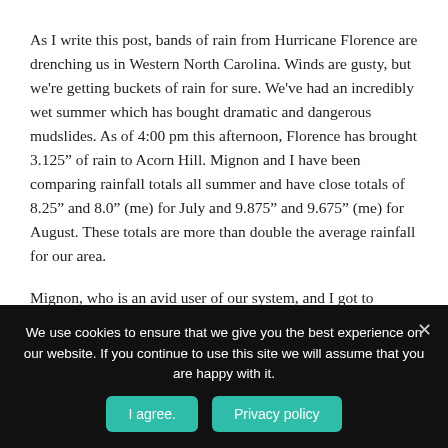As I write this post, bands of rain from Hurricane Florence are drenching us in Western North Carolina.  Winds are gusty, but we're getting buckets of rain for sure.  We've had an incredibly wet summer which has bought dramatic and dangerous mudslides.  As of 4:00 pm this afternoon, Florence has brought 3.125" of rain to Acorn Hill.  Mignon and I have been comparing rainfall totals all summer and have close totals of 8.25" and 8.0" (me) for July and 9.875" and 9.675" (me) for August.  These totals are more than double the average rainfall for our area.
Mignon, who is an avid user of our system, and I got to
We use cookies to ensure that we give you the best experience on our website. If you continue to use this site we will assume that you are happy with it.